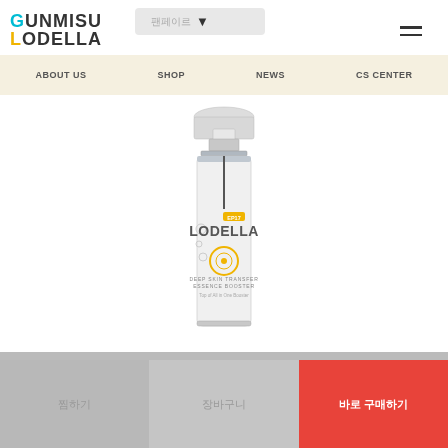[Figure (logo): Gunmisu Lodella brand logo with cyan G and gold L letters]
[Figure (screenshot): Fanpage button with Korean text and arrow icon]
[Figure (other): Hamburger menu icon (three horizontal lines)]
ABOUT US  SHOP  NEWS  CS CENTER
[Figure (photo): Lodella Deep Skin Transfer Essence Booster product bottle - white/silver cylindrical pump bottle with gold LODELLA branding, EP17 label, circular gold emblem, text reading DEEP SKIN TRANSFER ESSENCE BOOSTER and Top of All in One Booster]
[Figure (other): Three bottom navigation buttons in Korean: gray button, gray button, red button labeled 바로 구매하기]